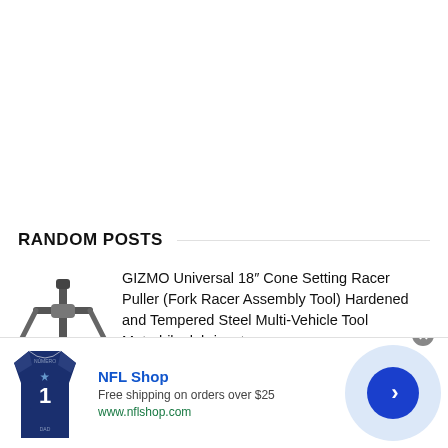RANDOM POSTS
[Figure (illustration): A metal cone setting racer puller tool with fork-like prongs, black and silver, on white background]
GIZMO Universal 18″ Cone Setting Racer Puller (Fork Racer Assembly Tool) Hardened and Tempered Steel Multi-Vehicle Tool Motorbike lubricants
[Figure (photo): NFL Shop advertisement showing a dark navy blue Dallas Cowboys jersey with number 1, alongside NFL Shop branding, free shipping offer, and a circular blue arrow button]
NFL Shop
Free shipping on orders over $25
www.nflshop.com